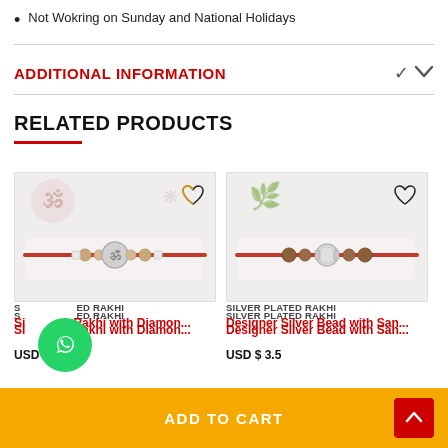Not Wokring on Sunday and National Holidays
ADDITIONAL INFORMATION
RELATED PRODUCTS
[Figure (photo): Product image of Silver Plated Rakhi with diamond design on a red thread, shown on a white display stand]
SILVER PLATED RAKHI
Silver Rakhi with Diamon...
USD $ 5.01
[Figure (photo): Product image of Designer Silver Bead with Sandalwood beads rakhi on a red thread, shown on a white display stand]
SILVER PLATED RAKHI
Designer Silver Bead with San...
USD $ 3.51
ADD TO CART